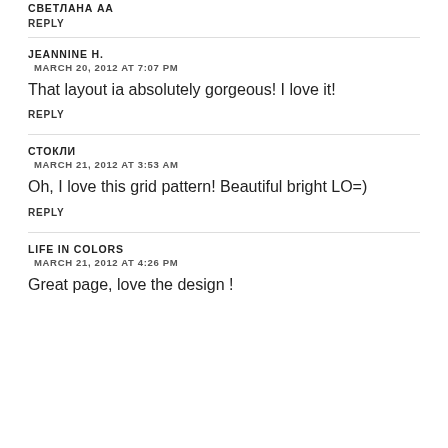СВЕТЛАНА АА
REPLY
JEANNINE H.
MARCH 20, 2012 AT 7:07 PM
That layout ia absolutely gorgeous! I love it!
REPLY
СТОКЛИ
MARCH 21, 2012 AT 3:53 AM
Oh, I love this grid pattern! Beautiful bright LO=)
REPLY
LIFE IN COLORS
MARCH 21, 2012 AT 4:26 PM
Great page, love the design !